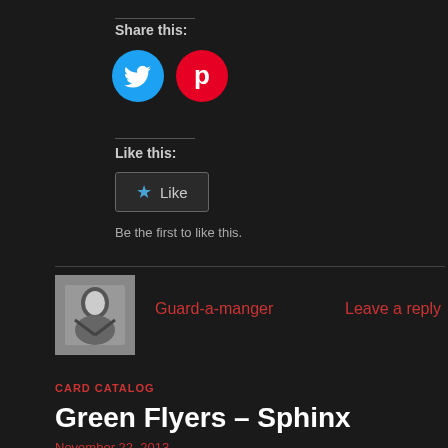Share this:
[Figure (illustration): Twitter bird icon (blue circle) and Pinterest P icon (red circle)]
Like this:
[Figure (screenshot): Like button widget with star icon and text 'Like']
Be the first to like this.
[Figure (photo): Black and white photo of a person]
Guard-a-manger
Leave a reply
CARD CATALOG
Green Flyers – Sphinx
November 22, 2013